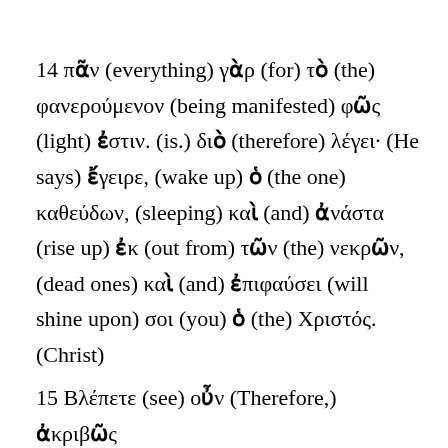14 πᾶν (everything) γὰρ (for) τὸ (the) φανερούμενον (being manifested) φῶς (light) ἐστιν. (is.) διὸ (therefore) λέγει· (He says) ἔγειρε, (wake up) ὁ (the one) καθεύδων, (sleeping) καὶ (and) ἀνάστα (rise up) ἐκ (out from) τῶν (the) νεκρῶν, (dead ones) καὶ (and) ἐπιφαύσει (will shine upon) σοι (you) ὁ (the) Χριστός. (Christ)
15 Βλέπετε (see) οὖν (Therefore,) ἀκριβῶς (carefully) ...